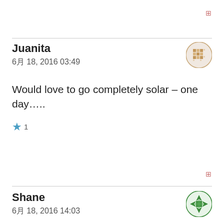⊟
Juanita
6月 18, 2016 03:49
Would love to go completely solar – one day…..
★ 1
⊟
Shane
6月 18, 2016 14:03
It is a very interesting concept, one I hope to try out soon!